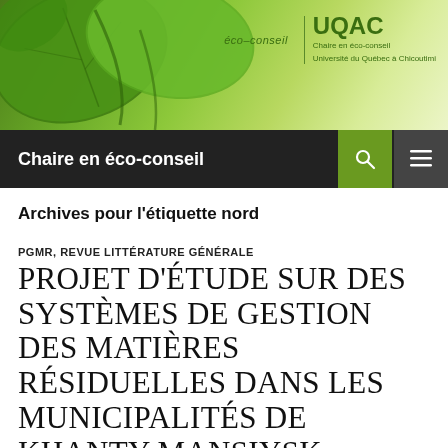[Figure (photo): Green leaves header image with éco-conseil and UQAC logo on the right side]
Chaire en éco-conseil
Archives pour l'étiquette nord
PGMR, REVUE LITTÉRATURE GÉNÉRALE
PROJET D'ÉTUDE SUR DES SYSTÈMES DE GESTION DES MATIÈRES RÉSIDUELLES DANS LES MUNICIPALITÉS DE KHANTY MANSIYSK